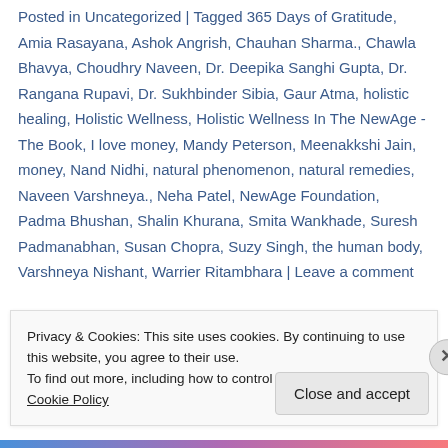Posted in Uncategorized | Tagged 365 Days of Gratitude, Amia Rasayana, Ashok Angrish, Chauhan Sharma., Chawla Bhavya, Choudhry Naveen, Dr. Deepika Sanghi Gupta, Dr. Rangana Rupavi, Dr. Sukhbinder Sibia, Gaur Atma, holistic healing, Holistic Wellness, Holistic Wellness In The NewAge - The Book, I love money, Mandy Peterson, Meenakkshi Jain, money, Nand Nidhi, natural phenomenon, natural remedies, Naveen Varshneya., Neha Patel, NewAge Foundation, Padma Bhushan, Shalin Khurana, Smita Wankhade, Suresh Padmanabhan, Susan Chopra, Suzy Singh, the human body, Varshneya Nishant, Warrier Ritambhara | Leave a comment
Privacy & Cookies: This site uses cookies. By continuing to use this website, you agree to their use. To find out more, including how to control cookies, see here: Cookie Policy